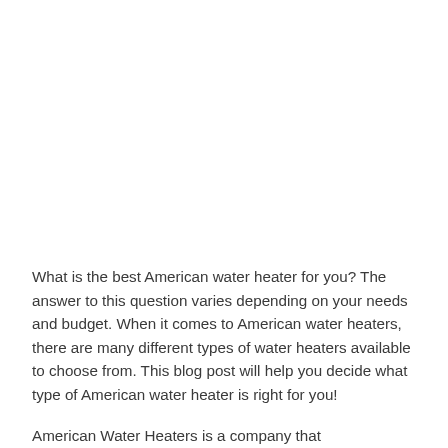What is the best American water heater for you? The answer to this question varies depending on your needs and budget. When it comes to American water heaters, there are many different types of water heaters available to choose from. This blog post will help you decide what type of American water heater is right for you!
American Water Heaters is a company that manufactures,